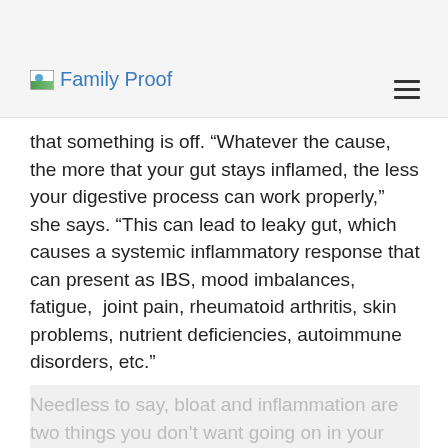Family Proof
that something is off. “Whatever the cause, the more that your gut stays inflamed, the less your digestive process can work properly,” she says. “This can lead to leaky gut, which causes a systemic inflammatory response that can present as IBS, mood imbalances, fatigue, joint pain, rheumatoid arthritis, skin problems, nutrient deficiencies, autoimmune disorders, etc.”
Needless to say, bloat and inflammation are two things you don’t want going on in your body. And the